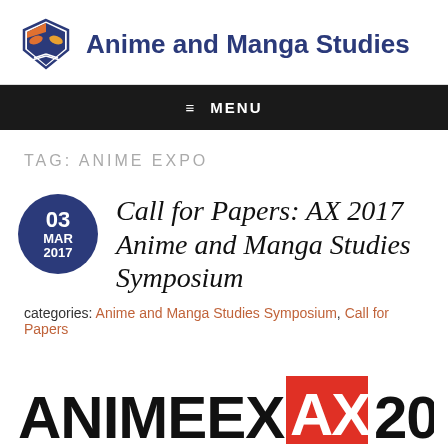[Figure (logo): Anime and Manga Studies site logo with shield icon and blue text title]
≡  MENU
TAG: ANIME EXPO
Call for Papers: AX 2017 Anime and Manga Studies Symposium
categories: Anime and Manga Studies Symposium, Call for Papers
[Figure (logo): Anime Expo AX 2017 logo — black ANIMEEXPO text with red AX block and 2017]